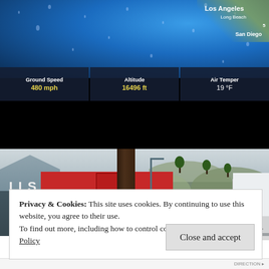[Figure (screenshot): Airplane in-flight map display showing a blue ocean/coastal map near Los Angeles and San Diego, with a dark HUD bar showing Ground Speed: 480 mph, Altitude: 16496 ft, Air Temperature: 19°F. Black area below HUD. Rain drops visible on screen.]
[Figure (photo): Street scene photo showing a commercial strip with a red-signed store (LLS visible), buildings, trees, parked cars, hills in background, cloudy sky, and a person's head in foreground.]
Privacy & Cookies: This site uses cookies. By continuing to use this website, you agree to their use.
To find out more, including how to control cookies, see here: Cookie Policy